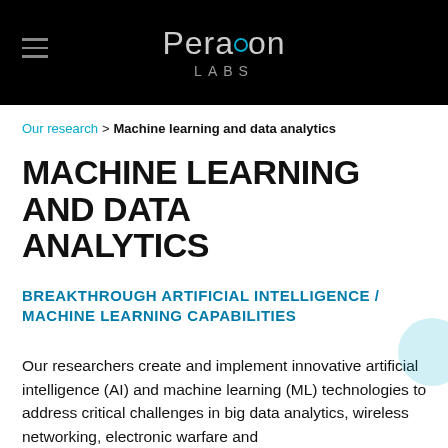[Figure (logo): Peraton Labs logo on black header bar with hamburger menu icon on left]
Our research > Machine learning and data analytics
MACHINE LEARNING AND DATA ANALYTICS
BREAKTHROUGH ARTIFICIAL INTELLIGENCE / MACHINE LEARNING CAPABILITIES
Our researchers create and implement innovative artificial intelligence (AI) and machine learning (ML) technologies to address critical challenges in big data analytics, wireless networking, electronic warfare and